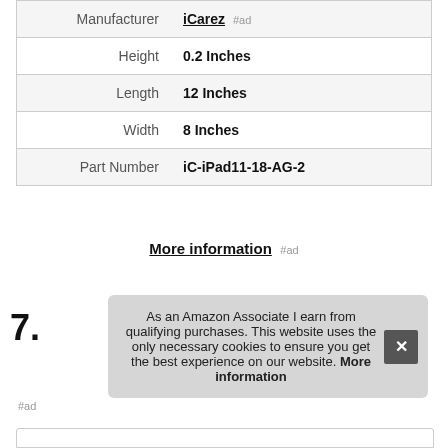|  |  |
| --- | --- |
| Manufacturer | iCarez #ad |
| Height | 0.2 Inches |
| Length | 12 Inches |
| Width | 8 Inches |
| Part Number | iC-iPad11-18-AG-2 |
More information #ad
7.
As an Amazon Associate I earn from qualifying purchases. This website uses the only necessary cookies to ensure you get the best experience on our website. More information
#ad